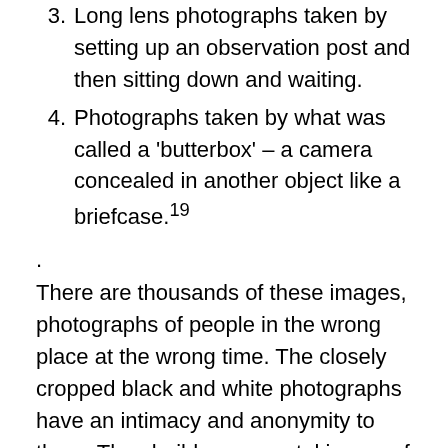3. Long lens photographs taken by setting up an observation post and then sitting down and waiting.
4. Photographs taken by what was called a 'butterbox' – a camera concealed in another object like a briefcase.19
.
There are thousands of these images, photographs of people in the wrong place at the wrong time. The closely cropped black and white photographs have an intimacy and anonymity to them. They build up a mental image of the changing face of what the State saw as threat: Aboriginal land rights, gay rights, women's liberation, anti-Vietnam demonstrations, youth culture, Communism – and now terrorism. These photographs evince an inherent suspicion about social issues and they had the power to dramatically alter lives (through the loss of work or home,